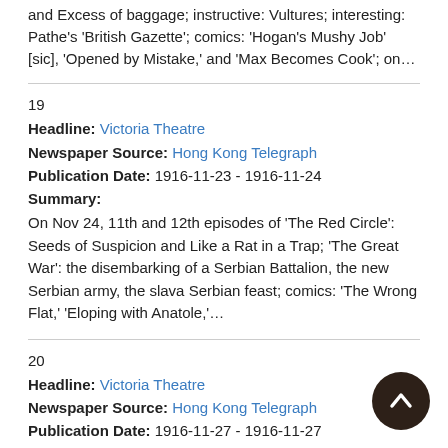and Excess of baggage; instructive: Vultures; interesting: Pathe's 'British Gazette'; comics: 'Hogan's Mushy Job' [sic], 'Opened by Mistake,' and 'Max Becomes Cook'; on…
19
Headline: Victoria Theatre
Newspaper Source: Hong Kong Telegraph
Publication Date: 1916-11-23 - 1916-11-24
Summary:
On Nov 24, 11th and 12th episodes of 'The Red Circle': Seeds of Suspicion and Like a Rat in a Trap; 'The Great War': the disembarking of a Serbian Battalion, the new Serbian army, the slava Serbian feast; comics: 'The Wrong Flat,' 'Eloping with Anatole,'…
20
Headline: Victoria Theatre
Newspaper Source: Hong Kong Telegraph
Publication Date: 1916-11-27 - 1916-11-27
Summary: